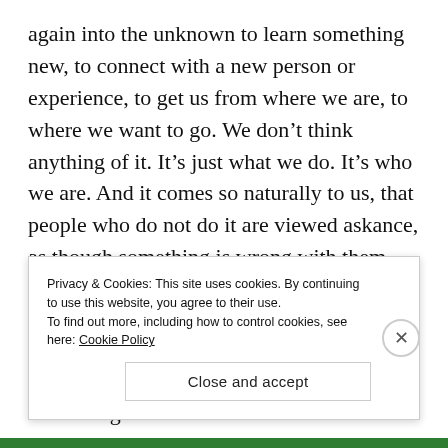again into the unknown to learn something new, to connect with a new person or experience, to get us from where we are, to where we want to go. We don't think anything of it. It's just what we do. It's who we are. And it comes so naturally to us, that people who do not do it are viewed askance, as though something is wrong with them. Indeed, the DSM has made plenty of space for them in its successive tomes.
What makes our connecting activity so tantalizing is the gap—the space we need to cross. That gap is useful
Privacy & Cookies: This site uses cookies. By continuing to use this website, you agree to their use.
To find out more, including how to control cookies, see here: Cookie Policy
Close and accept